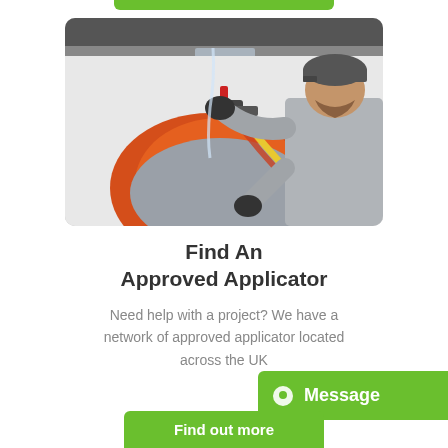[Figure (photo): A worker in a grey hoodie and cap using spray foam/insulation equipment on a wall, with orange foam visible and hoses, on a white exterior wall background.]
Find An Approved Applicator
Need help with a project? We have a network of approved applicator located across the UK
Message
Find out more